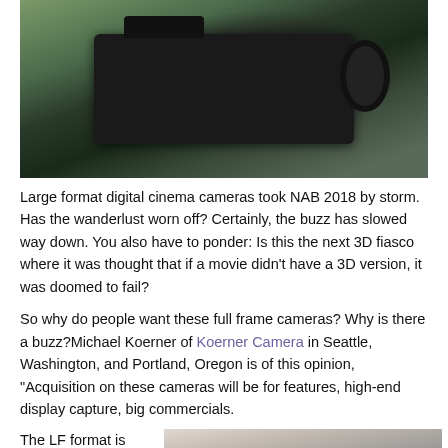[Figure (photo): Large format digital cinema camera mounted on a rig, outdoors with blurred green foliage background]
Large format digital cinema cameras took NAB 2018 by storm. Has the wanderlust worn off? Certainly, the buzz has slowed way down. You also have to ponder: Is this the next 3D fiasco where it was thought that if a movie didn't have a 3D version, it was doomed to fail?
So why do people want these full frame cameras? Why is there a buzz?Michael Koerner of Koerner Camera in Seattle, Washington, and Portland, Oregon is of this opinion, "Acquisition on these cameras will be for features, high-end display capture, big commercials.
The LF format is just another arrow in the
[Figure (photo): Camera equipment photograph, partially visible at bottom right of page]